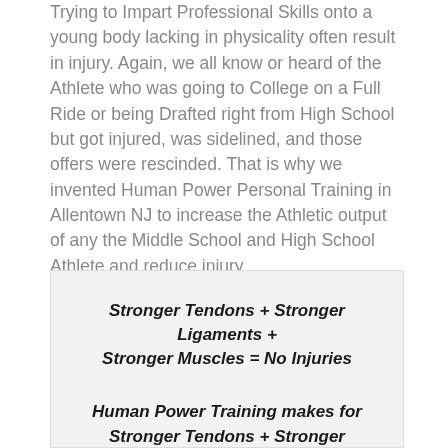Trying to Impart Professional Skills onto a young body lacking in physicality often result in injury. Again, we all know or heard of the Athlete who was going to College on a Full Ride or being Drafted right from High School but got injured, was sidelined, and those offers were rescinded. That is why we invented Human Power Personal Training in Allentown NJ to increase the Athletic output of any the Middle School and High School Athlete and reduce injury.
Stronger Tendons + Stronger Ligaments + Stronger Muscles = No Injuries

Human Power Training makes for Stronger Tendons + Stronger Ligaments + Stronger Muscles = No Injuries